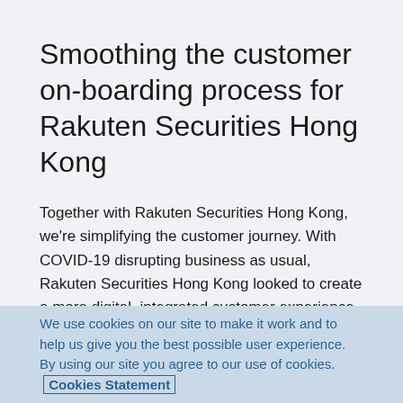Smoothing the customer on-boarding process for Rakuten Securities Hong Kong
Together with Rakuten Securities Hong Kong, we're simplifying the customer journey. With COVID-19 disrupting business as usual, Rakuten Securities Hong Kong looked to create a more digital, integrated customer experience. Starting with their onboarding process they partnered with us to create a secure, highly available, scalable and DevOps-enabled cloud-native application architecture.
We use cookies on our site to make it work and to help us give you the best possible user experience. By using our site you agree to our use of cookies. Cookies Statement